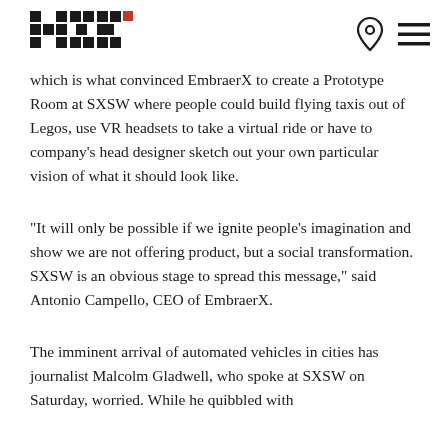HxK logo and navigation icons
which is what convinced EmbraerX to create a Prototype Room at SXSW where people could build flying taxis out of Legos, use VR headsets to take a virtual ride or have to company’s head designer sketch out your own particular vision of what it should look like.
“It will only be possible if we ignite people’s imagination and show we are not offering product, but a social transformation. SXSW is an obvious stage to spread this message,” said Antonio Campello, CEO of EmbraerX.
The imminent arrival of automated vehicles in cities has journalist Malcolm Gladwell, who spoke at SXSW on Saturday, worried. While he quibbled with